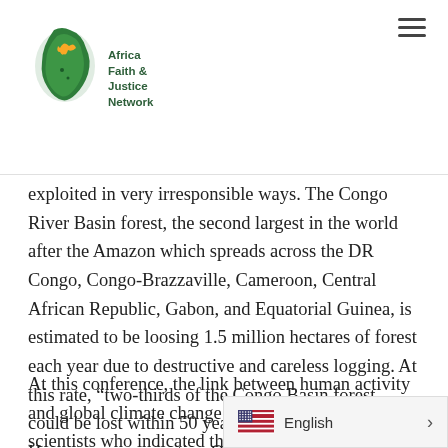Africa Faith & Justice Network
exploited in very irresponsible ways. The Congo River Basin forest, the second largest in the world after the Amazon which spreads across the DR Congo, Congo-Brazzaville, Cameroon, Central African Republic, Gabon, and Equatorial Guinea, is estimated to be loosing 1.5 million hectares of forest each year due to destructive and careless logging. At this rate, “two-thirds of the Congo Basin forest could be lost within 50 years,” says Constance Hegner, communication Officer of WWF-Denmark in her article “Congo Forest Company Goes ‘Green.’”
At this conference, the link between human activity and global climate change was emphasized by scientists who indicated that an increase in the release of carbon dioxide into the atmosphere lead…